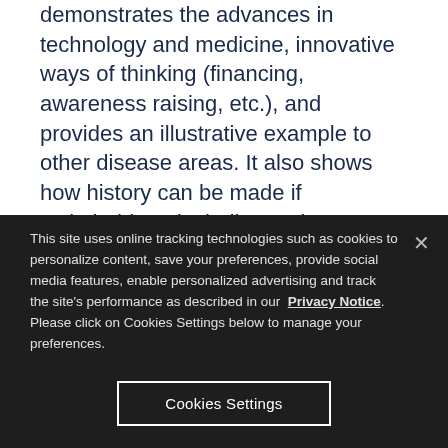demonstrates the advances in technology and medicine, innovative ways of thinking (financing, awareness raising, etc.), and provides an illustrative example to other disease areas. It also shows how history can be made if stakeholders, including patients, governments, health care professionals and industry, work together.
How does the World
This site uses online tracking technologies such as cookies to personalize content, save your preferences, provide social media features, enable personalized advertising and track the site's performance as described in our Privacy Notice. Please click on Cookies Settings below to manage your preferences.
Cookies Settings